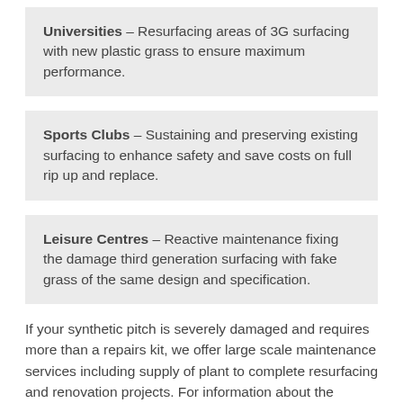Universities – Resurfacing areas of 3G surfacing with new plastic grass to ensure maximum performance.
Sports Clubs – Sustaining and preserving existing surfacing to enhance safety and save costs on full rip up and replace.
Leisure Centres – Reactive maintenance fixing the damage third generation surfacing with fake grass of the same design and specification.
If your synthetic pitch is severely damaged and requires more than a repairs kit, we offer large scale maintenance services including supply of plant to complete resurfacing and renovation projects. For information about the supply of plant make sure you click here http://www.syntheticturfpitchmaintenance.co.uk/equipment/supply-plant/somerset/ashwick/ Please get in touch with our team today through the enquiry form if you need a repair kit for your synthetic grass, or if you'd be interested in talking about costs for other